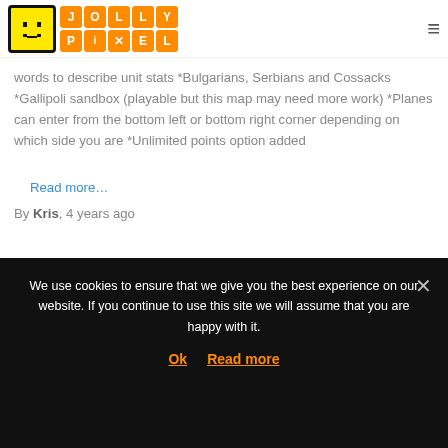Jolly Pixel — site header with logo and hamburger menu
words to describe unit stats *Bulgarians, Serbians and Cossacks *Gallipoli sandbox (playable but this map may need more work) *Planes can enter from the bottom left or bottom right corner depending on which side you are *Unlimited points option added
Read more…
By Kris, 4 years ago
[Figure (screenshot): Game screenshot showing pixel art soldiers on a green field with a blue UI button showing a right arrow]
We use cookies to ensure that we give you the best experience on our website. If you continue to use this site we will assume that you are happy with it.
Ok   Read more